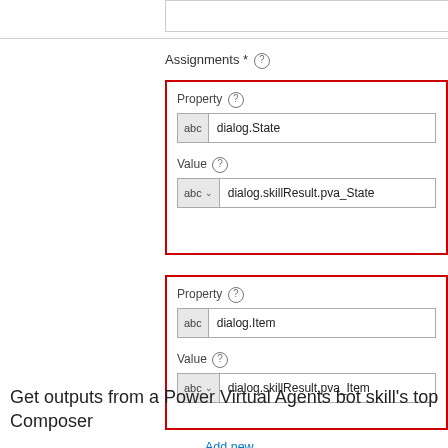Assignments *
[Figure (screenshot): First assignment block with red border containing Property field set to 'dialog.State' and Value field set to 'dialog.skillResult.pva_State']
[Figure (screenshot): Second assignment block with red border containing Property field set to 'dialog.Item' and Value field set to 'dialog.skillResult.pva_Item']
Add new
Get outputs from a Power Virtual Agents bot skill's top Composer